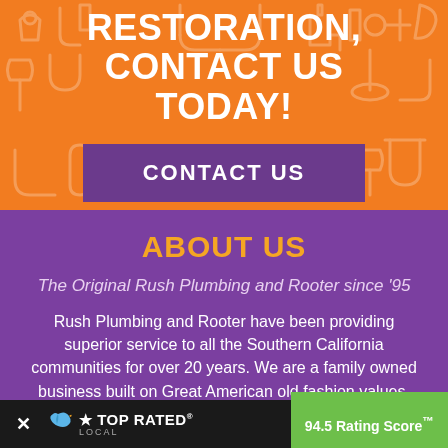RESTORATION, CONTACT US TODAY!
CONTACT US
ABOUT US
The Original Rush Plumbing and Rooter since '95
Rush Plumbing and Rooter have been providing superior service to all the Southern California communities for over 20 years. We are a family owned business built on Great American old fashion values, which is why we are Rated #1 in customer s...
[Figure (other): Top Rated Local badge showing 94.5 Rating Score]